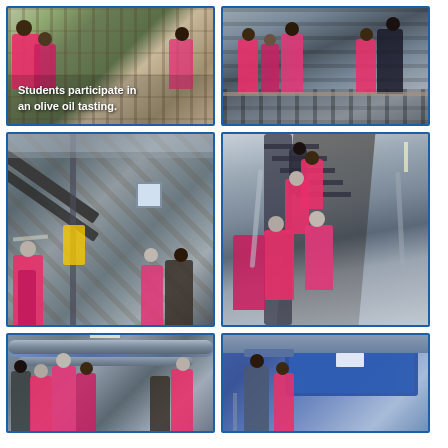[Figure (photo): Students in pink safety vests participate in an olive oil tasting inside a facility with shelves of bottles in the background. Text overlay reads: 'Students participate in an olive oil tasting.']
[Figure (photo): Group of students and adults in pink safety vests standing on or near a metal grate floor inside an industrial facility, viewed from behind.]
[Figure (photo): People in pink safety vests and hair nets viewing industrial conveyor belt machinery inside a large warehouse facility. A yellow safety railing is visible.]
[Figure (photo): Students and adults in pink safety vests climbing industrial metal stairs/gantry inside a large warehouse facility, with metal framework visible overhead.]
[Figure (photo): Group of people in pink safety vests and masks standing beside large industrial pipes/machinery inside a facility, viewed from the side.]
[Figure (photo): Person standing near large blue industrial machinery/equipment inside a facility. Industrial ceiling and ductwork visible.]